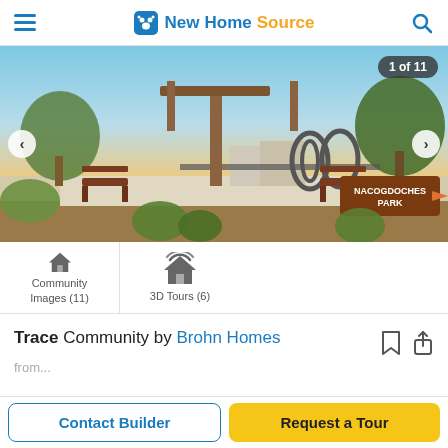NewHomeSource
[Figure (photo): Outdoor park scene at sunset showing Nacogdoches Park with benches, decorative metal sculptures, trees, and a wooden pergola structure. Navigation arrows on sides. Badge showing '1 of 11'.]
Community Images (11)
3D Tours (6)
Trace Community by Brohn Homes
from...
Contact Builder
Request a Tour